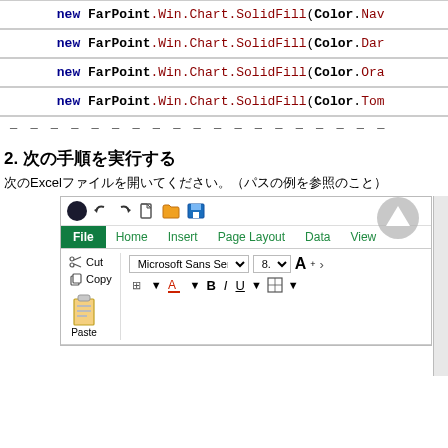new FarPoint.Win.Chart.SolidFill(Color.Nav...
new FarPoint.Win.Chart.SolidFill(Color.Dar...
new FarPoint.Win.Chart.SolidFill(Color.Ora...
new FarPoint.Win.Chart.SolidFill(Color.Tom...
2. 次の手順を実行する
次のExcelファイルを開いてください。（パスの例を参照のこと）
[Figure (screenshot): Screenshot of Microsoft Excel ribbon showing File, Home, Insert, Page Layout, Data, View tabs, with clipboard group (Cut, Copy, Paste) and font group (Microsoft Sans Serif, 8.25, A with formatting buttons B, I, U).]